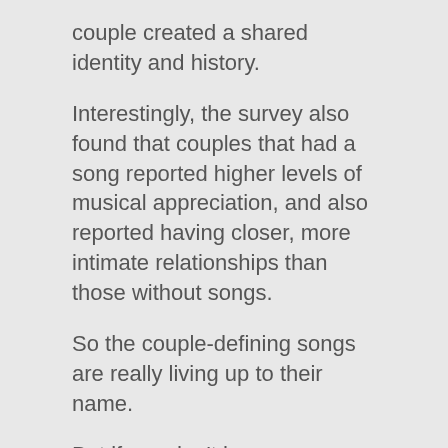couple created a shared identity and history.
Interestingly, the survey also found that couples that had a song reported higher levels of musical appreciation, and also reported having closer, more intimate relationships than those without songs.
So the couple-defining songs are really living up to their name.
But if you don't have a song – would you be interested in some couple-defining bread?
Neko Neko Shokupan is a bakery in Japan known for its special loaves of bread shaped like cats' heads.